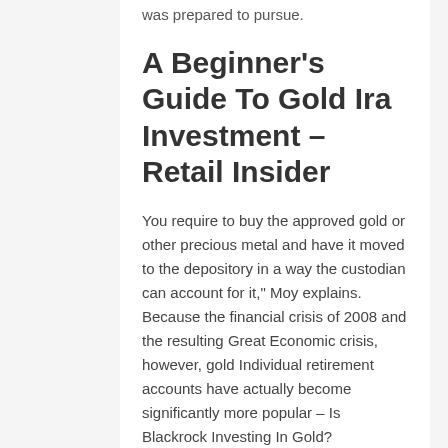was prepared to pursue.
A Beginner's Guide To Gold Ira Investment – Retail Insider
You require to buy the approved gold or other precious metal and have it moved to the depository in a way the custodian can account for it," Moy explains. Because the financial crisis of 2008 and the resulting Great Economic crisis, however, gold Individual retirement accounts have actually become significantly more popular – Is Blackrock Investing In Gold?